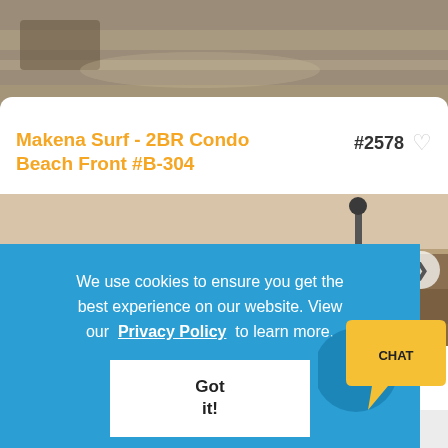[Figure (photo): Sandy beach surface viewed from above, top portion of a vacation rental listing page]
Makena Surf - 2BR Condo Beach Front #B-304
#2578
[Figure (photo): Interior room photo of the vacation rental condo, showing ceiling, lamp, and furniture]
We use cookies to ensure you get the best experience on our website. View our Privacy Policy to learn more.
Got it!
[Figure (illustration): CHAT bubble icon in yellow/gold color]